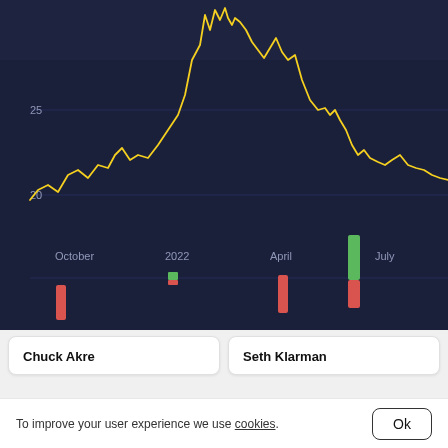[Figure (continuous-plot): Stock price line chart with dark navy background showing a yellow line tracking price over time from October 2021 through July 2022. Price axis shows values around 20 and 25. X-axis labels: October, 2022, April, July. Below the main chart area are vertical bars (candlestick-style) showing buy/sell activity: red bars (sells) near October, small green/red bars near January 2022, red bar near April, and a tall green bar with a red bar near July.]
Chuck Akre
Seth Klarman
To improve your user experience we use cookies.
Ok